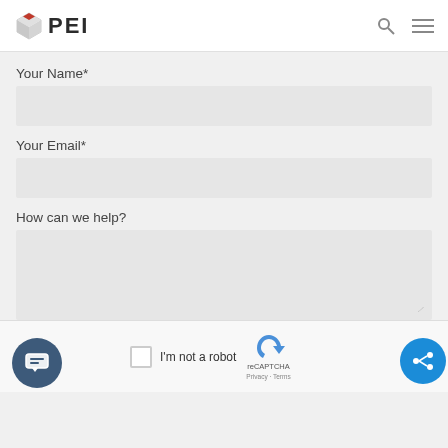PEI
Your Name*
Your Email*
How can we help?
I'm not a robot
reCAPTCHA Privacy · Terms